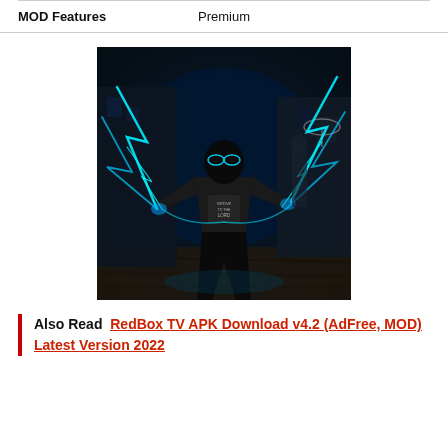| MOD Features |  |
| --- | --- |
| MOD Features | Premium |
[Figure (photo): A person in a white t-shirt standing with arms out, surrounded by glowing blue lightning effects, dark background with a street scene]
Also Read  RedBox TV APK Download v4.2 (AdFree, MOD) Latest Version 2022